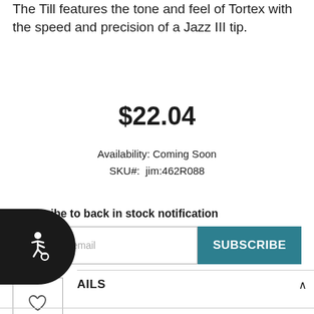The Till features the tone and feel of Tortex with the speed and precision of a Jazz III tip.
$22.04
Availability: Coming Soon
SKU#:  jim:462R088
Subscribe to back in stock notification
[Figure (other): Email input field with placeholder 'Insert your email' and a teal SUBSCRIBE button]
[Figure (other): Wishlist/heart icon button in a square border]
[Figure (other): Accessibility badge (dark circular icon with wheelchair symbol) in bottom-left corner]
AILS